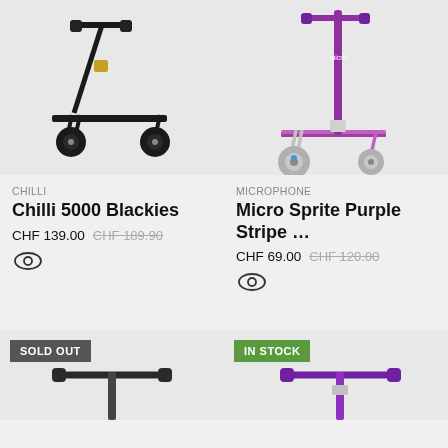[Figure (photo): Black stunt scooter with gold accents (Chilli 5000 Blackies) on light gray background]
CHILLI
Chilli 5000 Blackies
CHF 139.00 CHF 189.90
[Figure (photo): Purple Micro Sprite scooter on light gray background]
MICROPHONE
Micro Sprite Purple Stripe …
CHF 69.00 CHF 120.00
[Figure (photo): Gray/black scooter handlebar top, with SOLD OUT badge]
[Figure (photo): Purple scooter handlebar top, with IN STOCK badge]